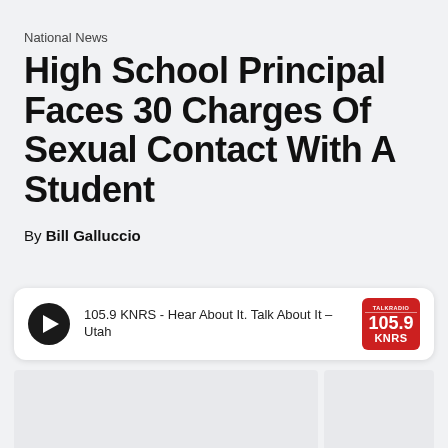National News
High School Principal Faces 30 Charges Of Sexual Contact With A Student
By Bill Galluccio
[Figure (other): Audio player widget for 105.9 KNRS - Hear About It. Talk About It – Utah, with play button and station logo]
[Figure (other): Two placeholder/content image areas at the bottom of the page]